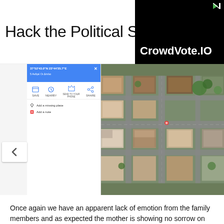Hack the Political System.
[Figure (screenshot): Advertisement banner for CrowdVote.IO with black background and white text, with play and close buttons]
[Figure (screenshot): Google Maps interface showing satellite aerial view of an urban neighborhood with buildings and streets, with a sidebar showing location coordinates and navigation icons]
Once again we have an apparent lack of emotion from the family members and as expected the mother is showing no sorrow on her social media accounts when given the events which have unfolded you would think she would be using it to contact family members here in the UK.